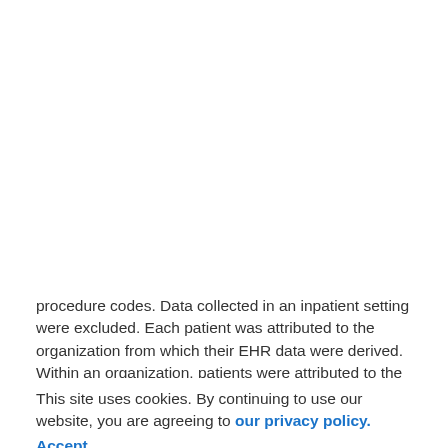procedure codes. Data collected in an inpatient setting were excluded. Each patient was attributed to the organization from which their EHR data were derived. Within an organization, patients were attributed to the clinical practice site (e.g., outpatient office) where the most recent encounter with a primary care physician occurred. For meaningful comparisons of sites, those with <30 attributed patients were excluded.
This site uses cookies. By continuing to use our website, you are agreeing to our privacy policy. Accept
CKD and Diabetes Tests and Medications
The primary CKD tests of interest in this study were eGFR